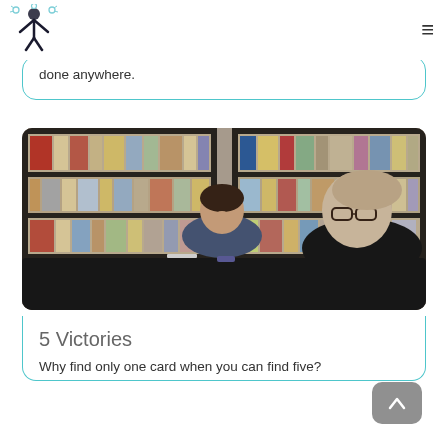done anywhere.
[Figure (photo): Two women sitting at a dark table in front of bookshelves filled with files and books. The woman on the left is smiling, wearing a dark blue t-shirt. The woman on the right is facing the camera, wearing glasses and a black shirt, laughing.]
5 Victories
Why find only one card when you can find five?